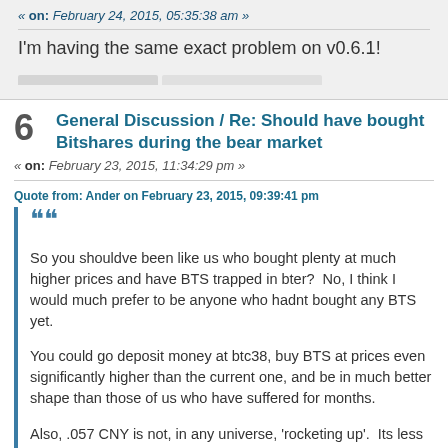« on: February 24, 2015, 05:35:38 am »
I'm having the same exact problem on v0.6.1!
General Discussion / Re: Should have bought Bitshares during the bear market
« on: February 23, 2015, 11:34:29 pm »
Quote from: Ander on February 23, 2015, 09:39:41 pm
So you shouldve been like us who bought plenty at much higher prices and have BTS trapped in bter?  No, I think I would much prefer to be anyone who hadnt bought any BTS yet.

You could go deposit money at btc38, buy BTS at prices even significantly higher than the current one, and be in much better shape than those of us who have suffered for months.

Also, .057 CNY is not, in any universe, 'rocketing up'.  Its less than one cent.  Weeks/months ago we were all